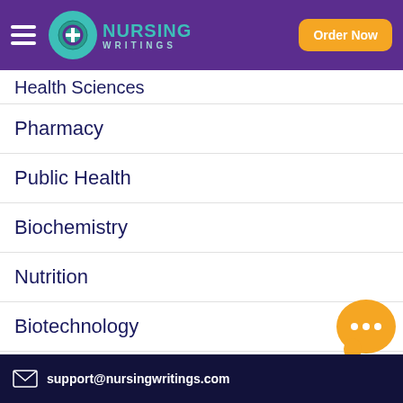NURSING WRITINGS — Order Now
Health Sciences
Pharmacy
Public Health
Biochemistry
Nutrition
Biotechnology
support@nursingwritings.com